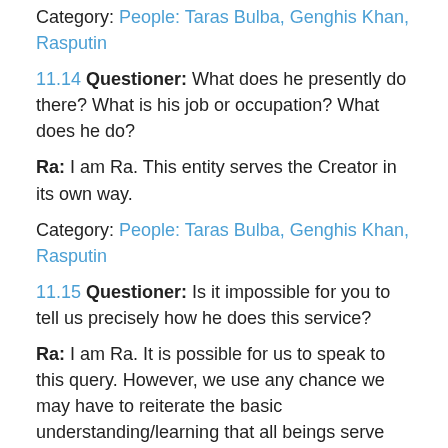Category: People: Taras Bulba, Genghis Khan, Rasputin
11.14 Questioner: What does he presently do there? What is his job or occupation? What does he do?
Ra: I am Ra. This entity serves the Creator in its own way.
Category: People: Taras Bulba, Genghis Khan, Rasputin
11.15 Questioner: Is it impossible for you to tell us precisely how he does this service?
Ra: I am Ra. It is possible for us to speak to this query. However, we use any chance we may have to reiterate the basic understanding/learning that all beings serve the Creator.
The one you speak of as Genghis Khan, at present, is incarnate in a physical light body which has the work of